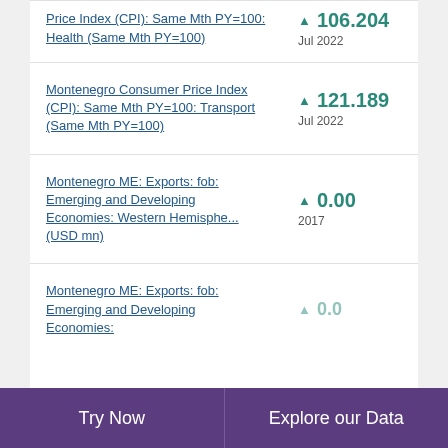Price Index (CPI): Same Mth PY=100: Health (Same Mth PY=100) ▲ 106.204 Jul 2022
Montenegro Consumer Price Index (CPI): Same Mth PY=100: Transport (Same Mth PY=100) ▲ 121.189 Jul 2022
Montenegro ME: Exports: fob: Emerging and Developing Economies: Western Hemisphe... (USD mn) ▲ 0.00 2017
Montenegro ME: Exports: fob: Emerging and Developing Economies: ...
Try Now    Explore our Data